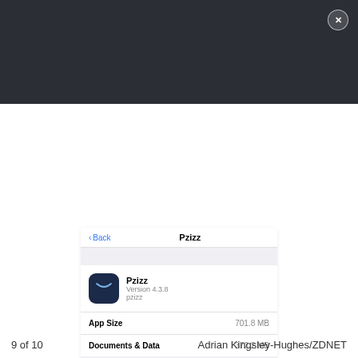[Figure (screenshot): iOS iPhone settings screen showing Pzizz app storage details with options to Offload App or Delete App. Navigation bar shows Back and Pzizz title. App icon shown with version 4.3.8. App Size 701.8 MB, Documents & Data 372.2 MB.]
9 of 10
Adrian Kingsley-Hughes/ZDNET